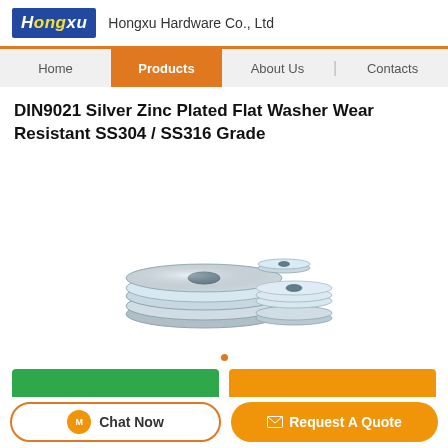Hongxu Hardware Co., Ltd
DIN9021 Silver Zinc Plated Flat Washer Wear Resistant SS304 / SS316 Grade
[Figure (photo): Stack of silver zinc plated flat washers of varying sizes, DIN9021 standard, showing multiple washers stacked and fanned out]
Chat Now | Request A Quote